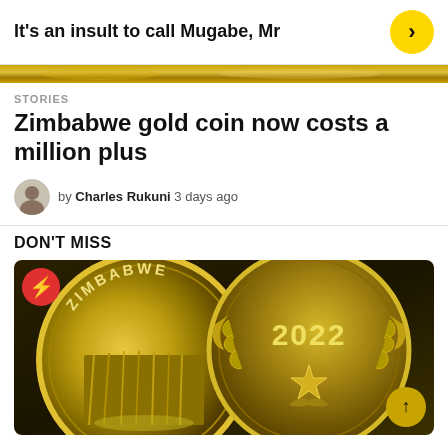It's an insult to call Mugabe, Mr
STORIES
Zimbabwe gold coin now costs a million plus
by Charles Rukuni 3 days ago
DON'T MISS
[Figure (photo): Zimbabwe gold coins showing year 2022 and Zimbabwe inscription with national emblem]